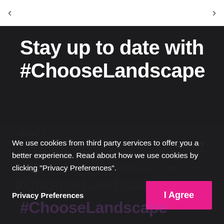< >
Stay up to date with #ChooseLandscape
Email *
SUBMIT
Subscribe to a monthly email roundup from the
We use cookies from third party services to offer you a better experience. Read about how we use cookies by clicking "Privacy Preferences".
Privacy Preferences
I Agree